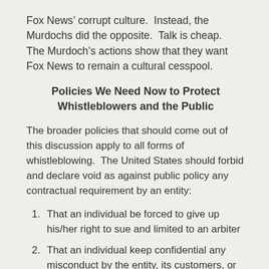Fox News’ corrupt culture.  Instead, the Murdochs did the opposite.  Talk is cheap.  The Murdoch’s actions show that they want Fox News to remain a cultural cesspool.
Policies We Need Now to Protect Whistleblowers and the Public
The broader policies that should come out of this discussion apply to all forms of whistleblowing.  The United States should forbid and declare void as against public policy any contractual requirement by an entity:
That an individual be forced to give up his/her right to sue and limited to an arbiter
That an individual keep confidential any misconduct by the entity, its customers, or their employees and officers